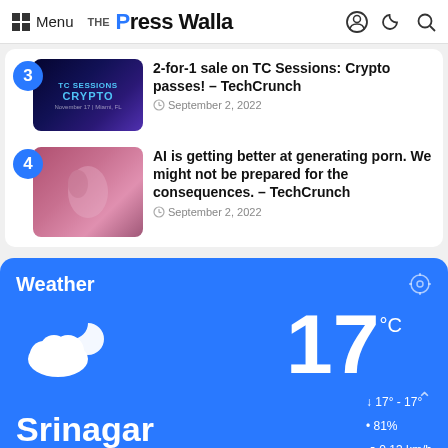Menu | The Press Walla
3 — 2-for-1 sale on TC Sessions: Crypto passes! – TechCrunch | September 2, 2022
4 — AI is getting better at generating porn. We might not be prepared for the consequences. – TechCrunch | September 2, 2022
Weather — Srinagar — 17 °C — Scattered Clouds — 17° - 17° — 81% — 0.13 km/h